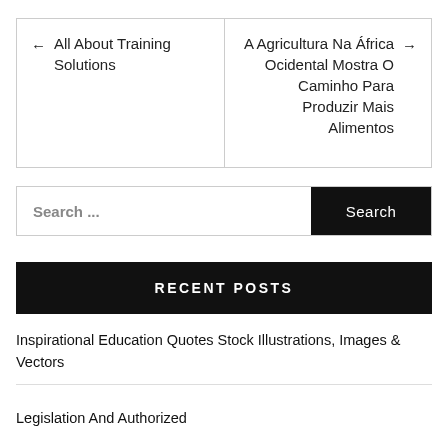← All About Training Solutions
A Agricultura Na África Ocidental Mostra O Caminho Para Produzir Mais Alimentos →
Search ...
Search
RECENT POSTS
Inspirational Education Quotes Stock Illustrations, Images & Vectors
Legislation And Authorized